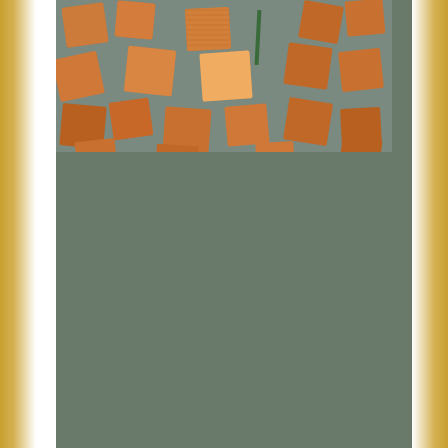I always paint the backs first, and lay out everything on wax paper to inhibit sticking of stray drips. When the paint is dry, I glue on a strong ceramic magnet. (And my little logo piece.) Hint: I discovered a trick to helping the magnet "hold" while it's curing – let it dry on a metal tray! It will stay right on that little square board, attracted to the metal underneath. Cookie trays work, or any flat metal surface lurking about.
After these set up, I painted the back with a layer of acrylic gloss medium.Then, yep, more drying.
Then, I flipped those babies over and painted all the fronts with the copper paint.
[Figure (photo): Photo of numerous small square copper-painted tiles laid out on a grey metal surface, showing their copper-painted fronts with a shiny, warm copper color.]